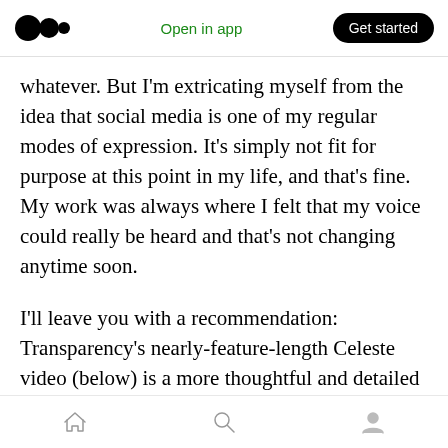Medium logo | Open in app | Get started
whatever. But I’m extricating myself from the idea that social media is one of my regular modes of expression. It’s simply not fit for purpose at this point in my life, and that’s fine. My work was always where I felt that my voice could really be heard and that’s not changing anytime soon.
I’ll leave you with a recommendation: Transparency’s nearly-feature-length Celeste video (below) is a more thoughtful and detailed analysis of the game than I could ever articulate myself. I really can’t recommend this enough if
Home | Search | Profile